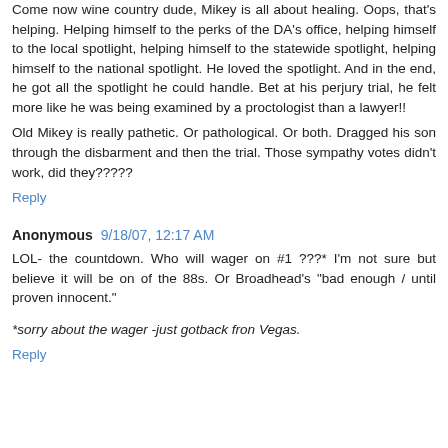Come now wine country dude, Mikey is all about healing. Oops, that's helping. Helping himself to the perks of the DA's office, helping himself to the local spotlight, helping himself to the statewide spotlight, helping himself to the national spotlight. He loved the spotlight. And in the end, he got all the spotlight he could handle. Bet at his perjury trial, he felt more like he was being examined by a proctologist than a lawyer!!
Old Mikey is really pathetic. Or pathological. Or both. Dragged his son through the disbarment and then the trial. Those sympathy votes didn't work, did they?????
Reply
Anonymous 9/18/07, 12:17 AM
LOL- the countdown. Who will wager on #1 ???* I'm not sure but believe it will be on of the 88s. Or Broadhead's "bad enough / until proven innocent."
*sorry about the wager -just gotback fron Vegas.
Reply